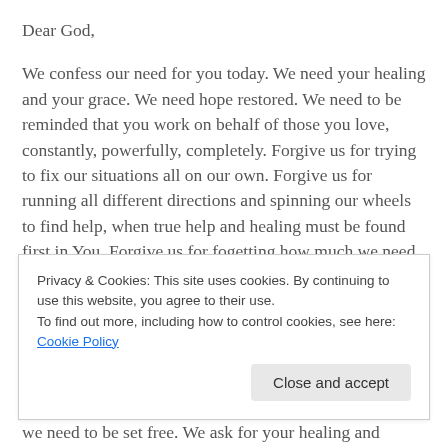Dear God,
We confess our need for you today. We need your healing and your grace. We need hope restored. We need to be reminded that you work on behalf of those you love, constantly, powerfully, completely. Forgive us for trying to fix our situations all on our own. Forgive us for running all different directions and spinning our wheels to find help, when true help and healing must be found first in You. Forgive us for fogetting how much we need
Privacy & Cookies: This site uses cookies. By continuing to use this website, you agree to their use.
To find out more, including how to control cookies, see here:
Cookie Policy
Close and accept
we need to be set free. We ask for your healing and